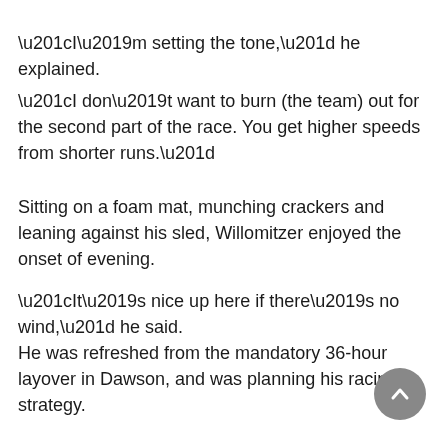“I’m setting the tone,” he explained.
“I don’t want to burn (the team) out for the second part of the race. You get higher speeds from shorter runs.”
Sitting on a foam mat, munching crackers and leaning against his sled, Willomitzer enjoyed the onset of evening.
“It’s nice up here if there’s no wind,” he said.
He was refreshed from the mandatory 36-hour layover in Dawson, and was planning his racing strategy.